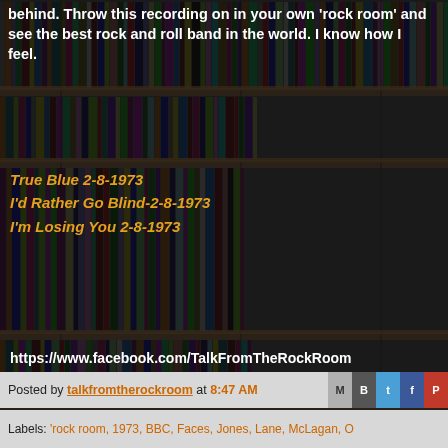behind. Throw this recording on in your own 'rock room' and see the best rock and roll band in the world. I know how I feel.
True Blue 2-8-1973
I'd Rather Go Blind-2-8-1973
I'm Losing You 2-8-1973
https://www.facebook.com/TalkFromTheRockRoom
[Figure (photo): Three men standing together posing for a photo, 1970s style clothing]
Posted by talkfromtherockroom at 8:47 AM
Labels: 'rock room, 1973, BBC, Faces, Jones, Lane, McLagan, O